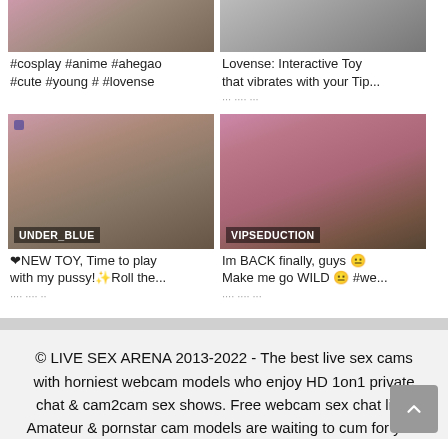[Figure (screenshot): Top-left webcam thumbnail (partially visible at top), with text caption: #cosplay #anime #ahegao #cute #young # #lovense]
[Figure (screenshot): Top-right webcam thumbnail (partially visible at top), with text caption: Lovense: Interactive Toy that vibrates with your Tip...]
[Figure (screenshot): Bottom-left webcam thumbnail labeled UNDER_BLUE, with text: ❤NEW TOY, Time to play with my pussy!✨Roll the...]
[Figure (screenshot): Bottom-right webcam thumbnail labeled VIPSEDUCTION, with text: Im BACK finally, guys 😐 Make me go WILD 😐 #we...]
© LIVE SEX ARENA 2013-2022 - The best live sex cams with horniest webcam models who enjoy HD 1on1 private chat & cam2cam sex shows. Free webcam sex chat live. Amateur & pornstar cam models are waiting to cum for you.